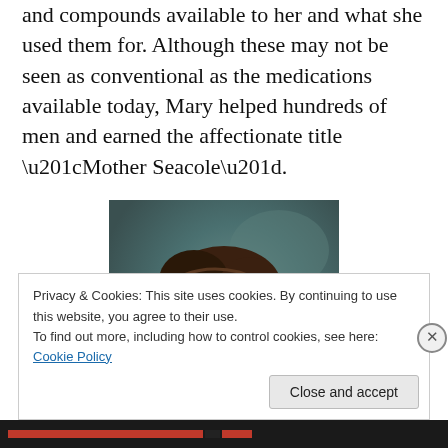and compounds available to her and what she used them for. Although these may not be seen as conventional as the medications available today, Mary helped hundreds of men and earned the affectionate title “Mother Seacole”.
[Figure (photo): Oil painting portrait of an elderly woman (Mary Seacole) in three-quarter profile, with dark braided hair, wearing a red garment, against a muted blue-green background.]
Privacy & Cookies: This site uses cookies. By continuing to use this website, you agree to their use.
To find out more, including how to control cookies, see here: Cookie Policy